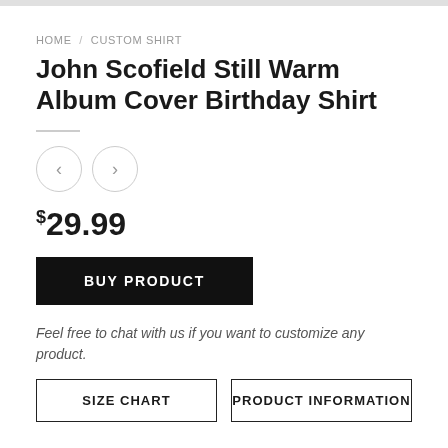HOME / CUSTOM SHIRT
John Scofield Still Warm Album Cover Birthday Shirt
$29.99
BUY PRODUCT
Feel free to chat with us if you want to customize any product.
SIZE CHART   PRODUCT INFORMATION